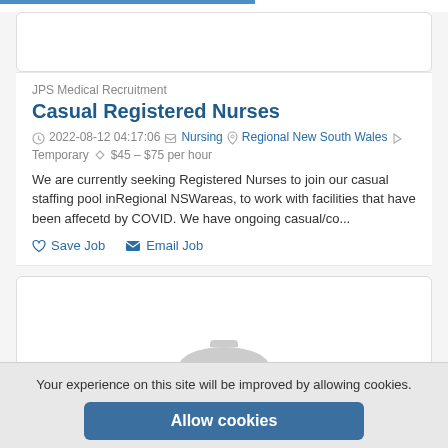[Figure (screenshot): Partial top card with empty content area]
JPS Medical Recruitment
Casual Registered Nurses
2022-08-12 04:17:06  Nursing  Regional New South Wales  Temporary  $45 – $75 per hour
We are currently seeking Registered Nurses to join our casual staffing pool inRegional NSWareas, to work with facilities that have been affecetd by COVID. We have ongoing casual/co...
Save Job
Email Job
[Figure (screenshot): Partial second card with placeholder user icon]
Your experience on this site will be improved by allowing cookies.
Allow cookies